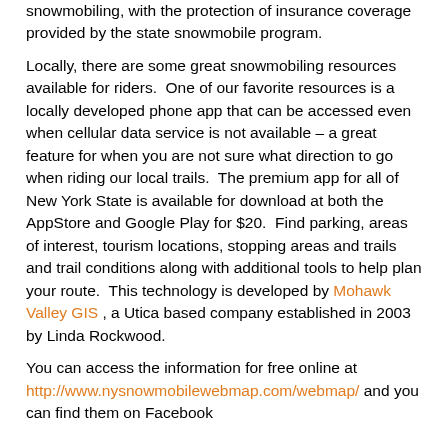snowmobiling, with the protection of insurance coverage provided by the state snowmobile program.
Locally, there are some great snowmobiling resources available for riders. One of our favorite resources is a locally developed phone app that can be accessed even when cellular data service is not available – a great feature for when you are not sure what direction to go when riding our local trails. The premium app for all of New York State is available for download at both the AppStore and Google Play for $20. Find parking, areas of interest, tourism locations, stopping areas and trails and trail conditions along with additional tools to help plan your route. This technology is developed by Mohawk Valley GIS , a Utica based company established in 2003 by Linda Rockwood.
You can access the information for free online at http://www.nysnowmobilewebmap.com/webmap/ and you can find them on Facebook